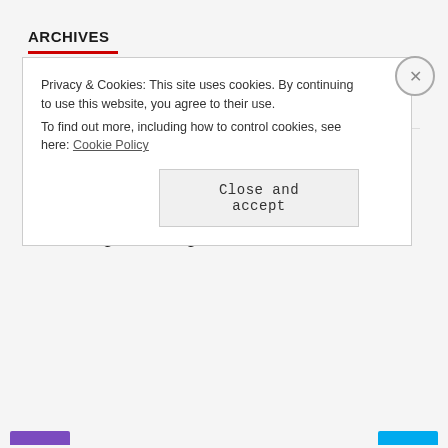ARCHIVES
[Figure (screenshot): A dropdown select element showing 'Select Month' with a chevron arrow]
INSTAGRAM IMAGES
No Instagram images were found.
Privacy & Cookies: This site uses cookies. By continuing to use this website, you agree to their use.
To find out more, including how to control cookies, see here: Cookie Policy
Close and accept